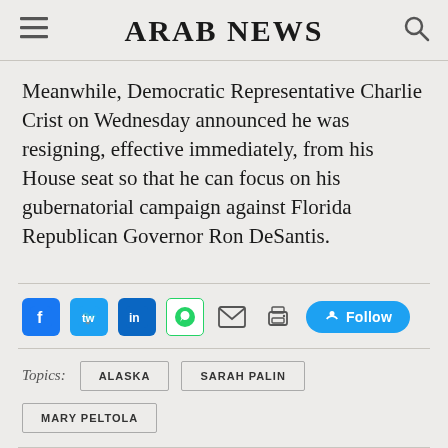ARAB NEWS
Meanwhile, Democratic Representative Charlie Crist on Wednesday announced he was resigning, effective immediately, from his House seat so that he can focus on his gubernatorial campaign against Florida Republican Governor Ron DeSantis.
[Figure (infographic): Social media share icons row: Facebook, Twitter, LinkedIn, WhatsApp, Email, Print, and a Twitter Follow button]
Topics: ALASKA  SARAH PALIN  MARY PELTOLA